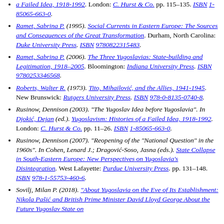Ramet, Sabrina P. (1995). Social Currents in Eastern Europe: The Sources and Consequences of the Great Transformation. Durham, North Carolina: Duke University Press. ISBN 9780822315483.
Ramet, Sabrina P. (2006). The Three Yugoslavias: State-building and Legitimation, 1918–2005. Bloomington: Indiana University Press. ISBN 9780253346568.
Roberts, Walter R. (1973). Tito, Mihailović, and the Allies, 1941-1945. New Brunswick: Rutgers University Press. ISBN 978-0-8135-0740-8.
Rusinow, Dennison (2003). "The Yugoslav Idea before Yugoslavia". In Djokić, Dejan (ed.). Yugoslavism: Histories of a Failed Idea, 1918-1992. London: C. Hurst & Co. pp. 11–26. ISBN 1-85065-663-0.
Rusinow, Dennison (2007). "Reopening of the "National Question" in the 1960s". In Cohen, Lenard J.; Dragović-Soso, Jasna (eds.). State Collapse in South-Eastern Europe: New Perspectives on Yugoslavia's Disintegration. West Lafayette: Purdue University Press. pp. 131–148. ISBN 978-1-55753-460-6.
Sovilj, Milan P. (2018). "About Yugoslavia on the Eve of Its Establishment: Nikola Pašić and British Prime Minister David Lloyd George About the Future Yugoslav State on...